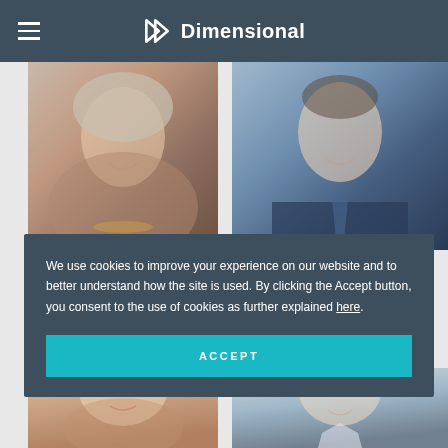Dimensional
[Figure (photo): Headshot of Lisa Dallmer, woman with short blonde/grey hair, patterned top and gold necklace]
[Figure (photo): Headshot of Aaron Marcus, man in dark checked suit and blue tie]
LISA DALLMER
AARON MARCUS
We use cookies to improve your experience on our website and to better understand how the site is used. By clicking the Accept button, you consent to the use of cookies as further explained here.
ACCEPT
[Figure (photo): Partial headshot of a woman with blonde/red hair at bottom of page]
[Figure (photo): Partial headshot of a man in white shirt at bottom of page]